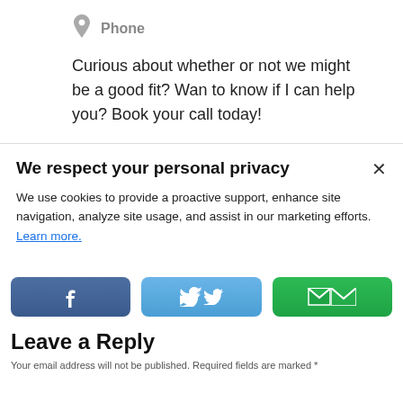Phone
Curious about whether or not we might be a good fit? Wan to know if I can help you? Book your call today!
We respect your personal privacy
We use cookies to provide a proactive support, enhance site navigation, analyze site usage, and assist in our marketing efforts. Learn more.
[Figure (infographic): Three share buttons: Facebook (dark blue with f icon), Twitter (light blue with bird icon), Email (green with envelope icon)]
Leave a Reply
Your email address will not be published. Required fields are marked *